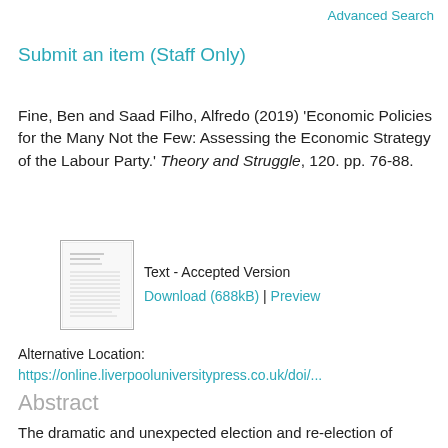Advanced Search
Submit an item (Staff Only)
Fine, Ben and Saad Filho, Alfredo (2019) 'Economic Policies for the Many Not the Few: Assessing the Economic Strategy of the Labour Party.' Theory and Struggle, 120. pp. 76-88.
[Figure (other): Thumbnail preview of the accepted version document]
Text - Accepted Version
Download (688kB) | Preview
Alternative Location:
https://online.liverpooluniversitypress.co.uk/doi/...
Abstract
The dramatic and unexpected election and re-election of Jeremy Corbyn to the Labour Party leadership, as well as the disarray of the Tory government under Theresa May in the wake of the Brexit negotiations and poor electoral performance